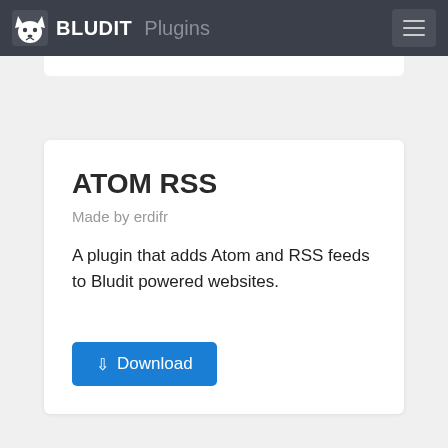BLUDIT Plugins
ATOM RSS
Made by erdifr
A plugin that adds Atom and RSS feeds to Bludit powered websites.
↓ Download